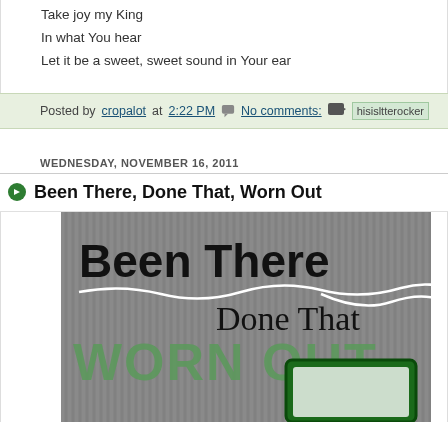Take joy my King
In what You hear
Let it be a sweet, sweet sound in Your ear
Posted by cropalot at 2:22 PM   No comments:   hisisltterocker
WEDNESDAY, NOVEMBER 16, 2011
Been There, Done That, Worn Out
[Figure (photo): Book cover image showing text 'Been There Done That WORN OUT' on a gray striped background with a TV in the lower portion]